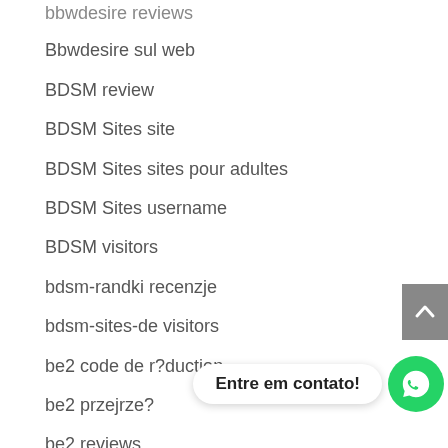bbwdesire reviews
Bbwdesire sul web
BDSM review
BDSM Sites site
BDSM Sites sites pour adultes
BDSM Sites username
BDSM visitors
bdsm-randki recenzje
bdsm-sites-de visitors
be2 code de r?duction
be2 przejrze?
be2 reviews
be2 visitors